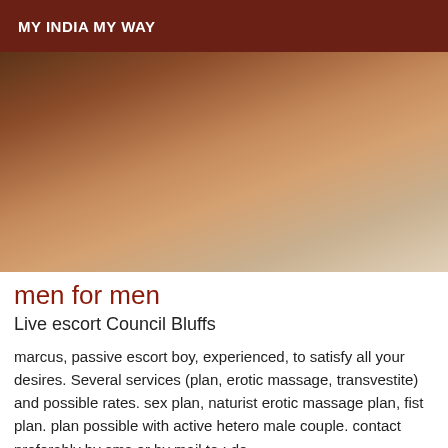MY INDIA MY WAY
[Figure (photo): A person sitting cross-legged on a tiled floor, photographed from above showing their legs and feet with an anklet, against a light-colored tile background.]
men for men
Live escort Council Bluffs
marcus, passive escort boy, experienced, to satisfy all your desires. Several services (plan, erotic massage, transvestite) and possible rates. sex plan, naturist erotic massage plan, fist plan. plan possible with active hetero male couple. contact preferably by sms or by mail to : do